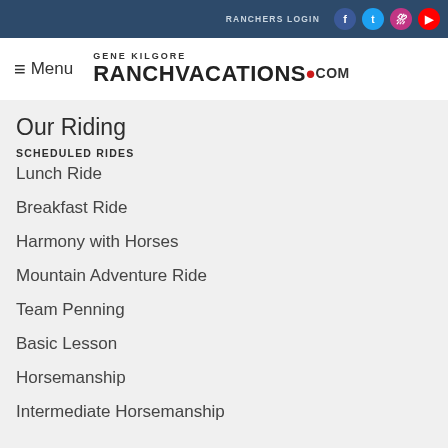RANCHERS LOGIN
≡ Menu  GENE KILGORE RANCHVACATIONS•COM
Our Riding
SCHEDULED RIDES
Lunch Ride
Breakfast Ride
Harmony with Horses
Mountain Adventure Ride
Team Penning
Basic Lesson
Horsemanship
Intermediate Horsemanship